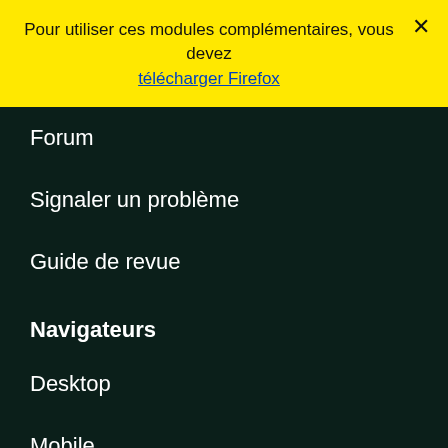Pour utiliser ces modules complémentaires, vous devez télécharger Firefox
Forum
Signaler un problème
Guide de revue
Navigateurs
Desktop
Mobile
Enterprise
Produits